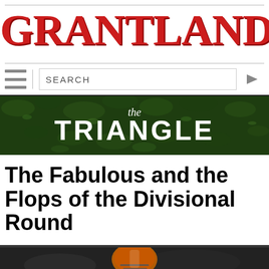GRANTLAND
[Figure (screenshot): Navigation bar with hamburger menu, search box labeled SEARCH, and right arrow button]
[Figure (logo): The Triangle banner — dark green background with grass texture, cursive 'The' above bold uppercase 'TRIANGLE' in white text]
The Fabulous and the Flops of the Divisional Round
[Figure (photo): Bottom portion of page showing a football player in a Broncos helmet, dark background, photo cut off at bottom]